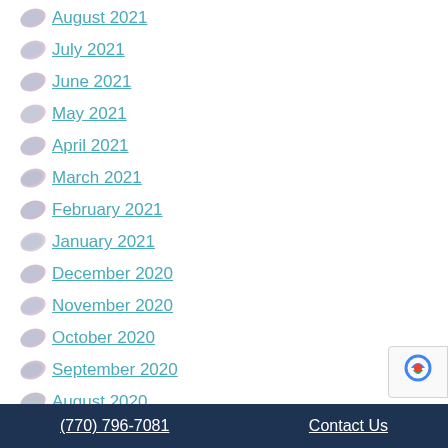August 2021
July 2021
June 2021
May 2021
April 2021
March 2021
February 2021
January 2021
December 2020
November 2020
October 2020
September 2020
August 2020
July 2020
June 2020
May 2020
(770) 796-7081    Contact Us